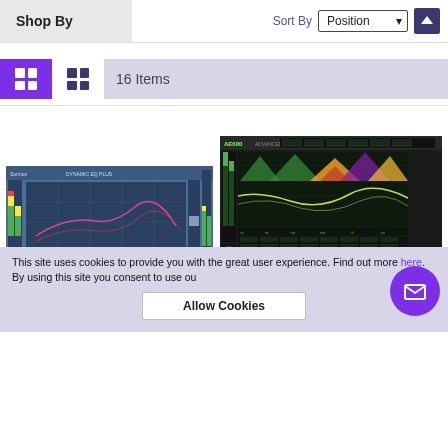Shop By
Sort By  Position
16 Items
[Figure (screenshot): Audio plugin interface - Sonnox dynamic processor showing a blue spectrum/EQ graph with pink/red waveform curves, faders, meters on left and right]
[Figure (screenshot): AE600 audio spectrum analyzer plugin showing colorful frequency analysis charts with green, yellow, orange, purple areas on dark background]
This site uses cookies to provide you with the great user experience. Find out more here. By using this site you consent to use ou
Allow Cookies